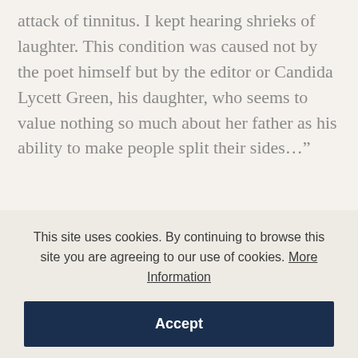attack of tinnitus. I kept hearing shrieks of laughter. This condition was caused not by the poet himself but by the editor or Candida Lycett Green, his daughter, who seems to value nothing so much about her father as his ability to make people split their sides…”
Benson’s Pleasure
Noël Annan, 4 March 1982
Edwardian Excursions: From the Diaries of A.C. Benson 1898-1904
This site uses cookies. By continuing to browse this site you are agreeing to our use of cookies. More Information
Accept